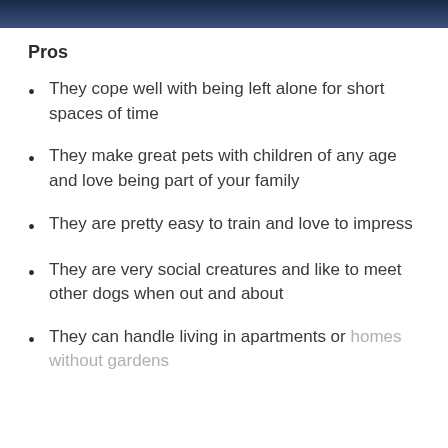[Figure (photo): Partial image strip at top of page, dark blue/navy colored image]
Pros
They cope well with being left alone for short spaces of time
They make great pets with children of any age and love being part of your family
They are pretty easy to train and love to impress
They are very social creatures and like to meet other dogs when out and about
They can handle living in apartments or homes without gardens